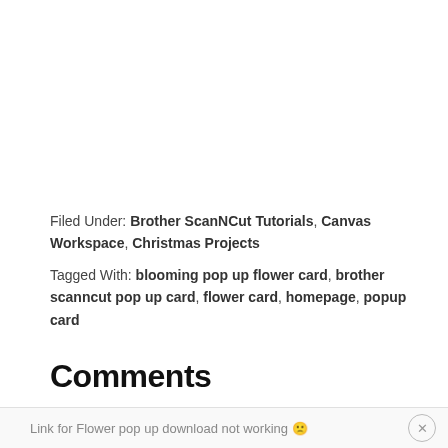Filed Under: Brother ScanNCut Tutorials, Canvas Workspace, Christmas Projects
Tagged With: blooming pop up flower card, brother scanncut pop up card, flower card, homepage, popup card
Comments
Kim H says
Link for Flower pop up download not working 🙁